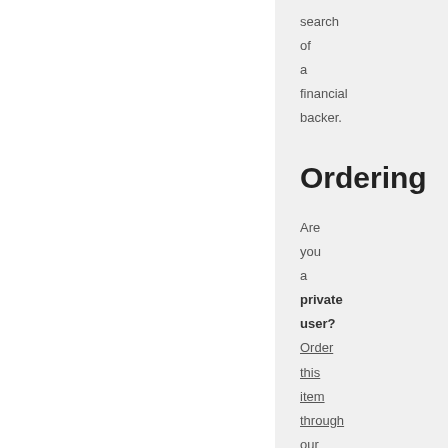search of a financial backer.
Ordering
Are you a private user? Order this item through our mailorder.
Are you a business user?